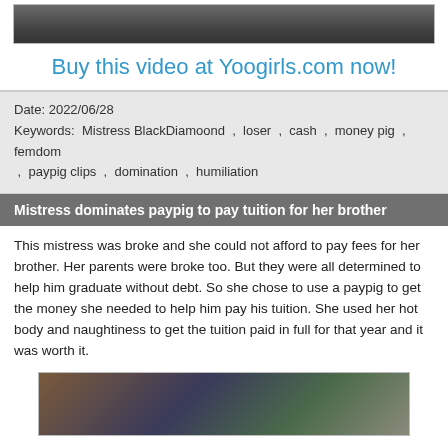[Figure (photo): Cropped top portion of a video thumbnail showing a person]
Buy this video at Yoogirls.com now!
Date: 2022/06/28
Keywords: Mistress BlackDiamoond , loser , cash , money pig , femdom , paypig clips , domination , humiliation
Mistress dominates paypig to pay tuition for her brother
This mistress was broke and she could not afford to pay fees for her brother. Her parents were broke too. But they were all determined to help him graduate without debt. So she chose to use a paypig to get the money she needed to help him pay his tuition. She used her hot body and naughtiness to get the tuition paid in full for that year and it was worth it.
[Figure (photo): Video thumbnail showing a woman sitting in front of a window with bookshelves]